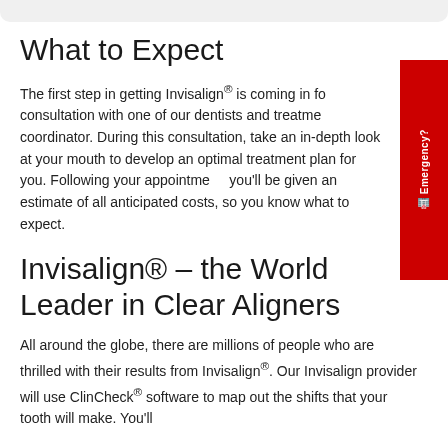What to Expect
The first step in getting Invisalign® is coming in for a consultation with one of our dentists and treatment coordinator. During this consultation, take an in-depth look at your mouth to develop an optimal treatment plan for you. Following your appointment, you'll be given an estimate of all anticipated costs, so you know what to expect.
Invisalign® – the World Leader in Clear Aligners
All around the globe, there are millions of people who are thrilled with their results from Invisalign®. Our Invisalign provider will use ClinCheck® software to map out the shifts that your tooth will make. You'll